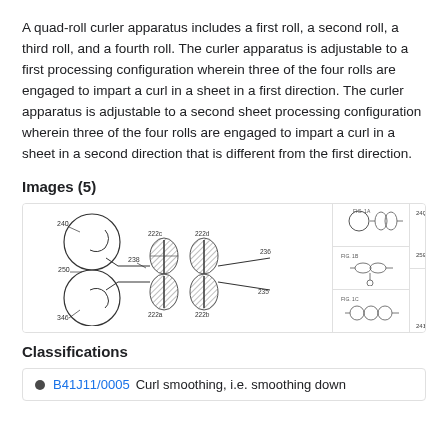A quad-roll curler apparatus includes a first roll, a second roll, a third roll, and a fourth roll. The curler apparatus is adjustable to a first processing configuration wherein three of the four rolls are engaged to impart a curl in a sheet in a first direction. The curler apparatus is adjustable to a second sheet processing configuration wherein three of the four rolls are engaged to impart a curl in a sheet in a second direction that is different from the first direction.
Images (5)
[Figure (engineering-diagram): Patent engineering diagrams showing quad-roll curler apparatus in multiple configurations. Left panel shows a main detailed diagram with labeled rolls (240, 250, 238, 346, 222c, 222d, 222a, 222b, 236, 235) and sheet paths. Middle panel shows three smaller figures (FIG. 1A, FIG. 1B, FIG. 1C) with schematic roll arrangements. Right panel shows two views of the roll apparatus (240, 250, 241) from different configurations.]
Classifications
B41J11/0005  Curl smoothing, i.e. smoothing down